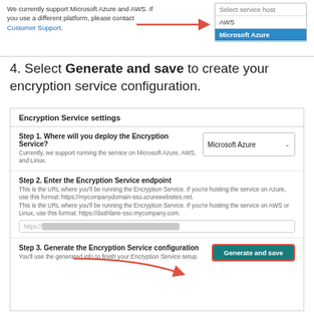[Figure (screenshot): Top portion showing a dropdown menu with 'Select service host', 'AWS', and 'Microsoft Azure' (highlighted in blue) options, with a red arrow pointing to it. Text says 'We currently support Microsoft Azure and AWS. If you use a different platform, please contact Customer Support.']
4. Select Generate and save to create your encryption service configuration.
[Figure (screenshot): Encryption Service settings panel with three steps: Step 1 (Where will you deploy?), Step 2 (Enter endpoint URL with blurred input), Step 3 (Generate and save button highlighted with red border and red arrow).]